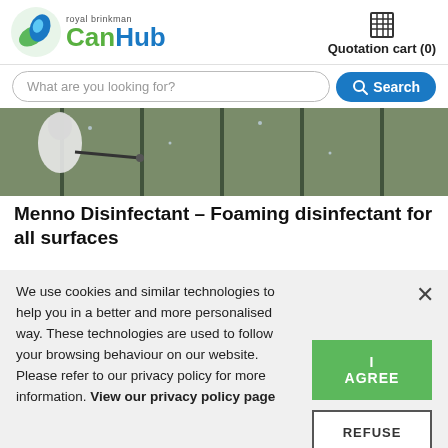[Figure (logo): Royal Brinkman CanHub logo with circular green/blue leaf icon and CanHub brand name]
Quotation cart (0)
What are you looking for?
[Figure (photo): A person in white protective suit spraying disinfectant on glass greenhouse surfaces]
Menno Disinfectant – Foaming disinfectant for all surfaces
We use cookies and similar technologies to help you in a better and more personalised way. These technologies are used to follow your browsing behaviour on our website. Please refer to our privacy policy for more information. View our privacy policy page